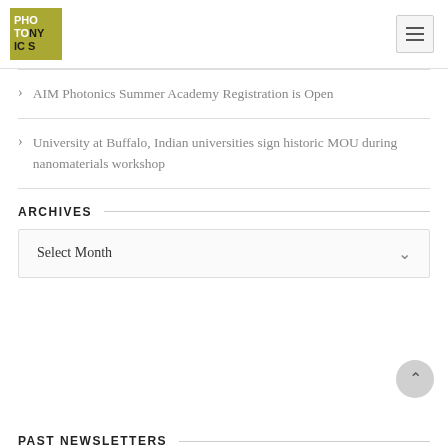PHOTONYICS
AIM Photonics Summer Academy Registration is Open
University at Buffalo, Indian universities sign historic MOU during nanomaterials workshop
ARCHIVES
Select Month
PAST NEWSLETTERS